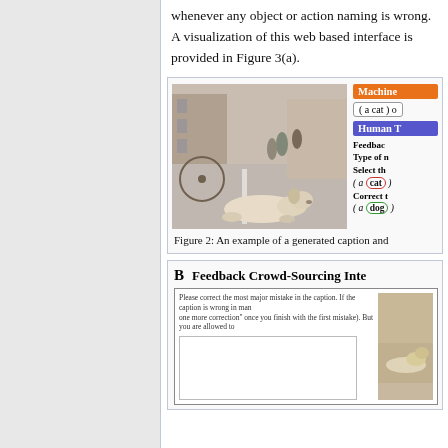whenever any object or action naming is wrong. A visualization of this web based interface is provided in Figure 3(a).
[Figure (screenshot): Figure showing a generated caption interface with a photo of a dog lying on a street, and a UI panel showing Machine and Human Turker feedback sections. Machine section shows a cat caption pill. Human section shows feedback type selection with 'cat' highlighted in red and 'dog' in green.]
Figure 2: An example of a generated caption and
[Figure (screenshot): Feedback Crowd-Sourcing Interface (section B) showing a web form with instructions to correct the most major mistake in a caption, with a text area and a photo of a dog.]